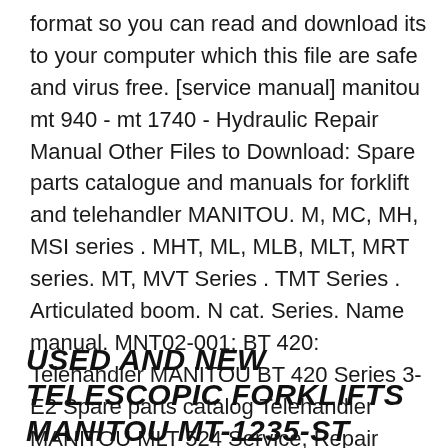format so you can read and download its to your computer which this file are safe and virus free. [service manual] manitou mt 940 - mt 1740 - Hydraulic Repair Manual Other Files to Download: Spare parts catalogue and manuals for forklift and telehandler MANITOU. M, MC, MH, MSI series . MHT, ML, MLB, MLT, MRT series. MT, MVT Series . TMT Series . Articulated boom. N cat. Series. Name manual. MNT02-001: BT 420: Telehandler MANITOU BT 420 Series 3-E2 Spare parts catalog Telehandler MANITOU MLT 524 Service, Repair manual: MNT02-096
USED AND NEW TELESCOPIC FORKLIFTS MANITOU MT-1235-ST